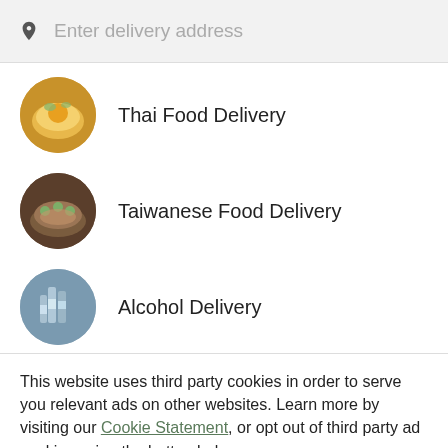Enter delivery address
Thai Food Delivery
Taiwanese Food Delivery
Alcohol Delivery
This website uses third party cookies in order to serve you relevant ads on other websites. Learn more by visiting our Cookie Statement, or opt out of third party ad cookies using the button below.
OPT OUT
GOT IT